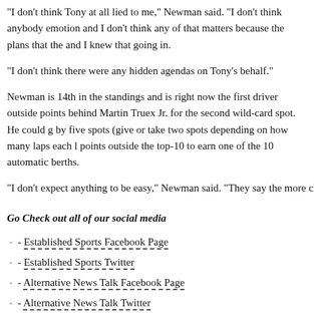"I don't think Tony at all lied to me," Newman said. "I don't think anybody emotion and I don't think any of that matters because the plans that the and I knew that going in.
"I don't think there were any hidden agendas on Tony's behalf."
Newman is 14th in the standings and is right now the first driver outside points behind Martin Truex Jr. for the second wild-card spot. He could g by five spots (give or take two spots depending on how many laps each l points outside the top-10 to earn one of the 10 automatic berths.
"I don't expect anything to be easy," Newman said. "They say the more ch
Go Check out all of our social media
- Established Sports Facebook Page
- Established Sports Twitter
- Alternative News Talk Facebook Page
- Alternative News Talk Twitter
You can now follow me (Andy) on my Twitter account is at: http://(t...